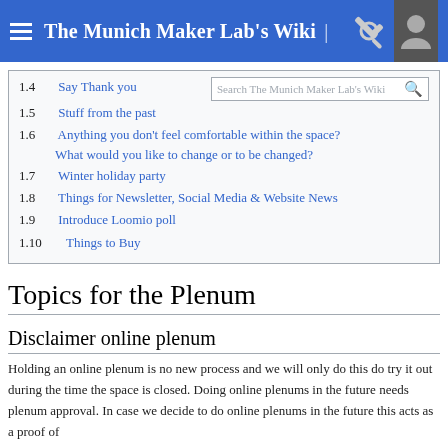The Munich Maker Lab's Wiki
1.4  Say Thank you
1.5  Stuff from the past
1.6  Anything you don't feel comfortable within the space? What would you like to change or to be changed?
1.7  Winter holiday party
1.8  Things for Newsletter, Social Media & Website News
1.9  Introduce Loomio poll
1.10  Things to Buy
Topics for the Plenum
Disclaimer online plenum
Holding an online plenum is no new process and we will only do this do try it out during the time the space is closed. Doing online plenums in the future needs plenum approval. In case we decide to do online plenums in the future this acts as a proof of